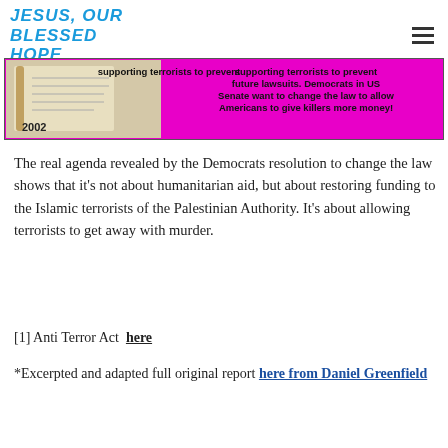JESUS, OUR BLESSED HOPE
[Figure (infographic): Pink/magenta banner image with photo on left (binder with documents, year 2002) and bold black text on pink background reading: 'supporting terrorists to prevent future lawsuits. Democrats in US Senate want to change the law to allow Americans to give killers more money!']
The real agenda revealed by the Democrats resolution to change the law shows that it’s not about humanitarian aid, but about restoring funding to the Islamic terrorists of the Palestinian Authority.  It’s about allowing terrorists to get away with murder.
[1] Anti Terror Act  here
*Excerpted and adapted full original report here from Daniel Greenfield